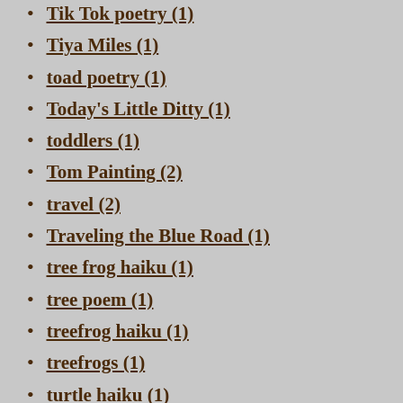Tik Tok poetry (1)
Tiya Miles (1)
toad poetry (1)
Today's Little Ditty (1)
toddlers (1)
Tom Painting (2)
travel (2)
Traveling the Blue Road (1)
tree frog haiku (1)
tree poem (1)
treefrog haiku (1)
treefrogs (1)
turtle haiku (1)
Two by Two (1)
umbrella (1)